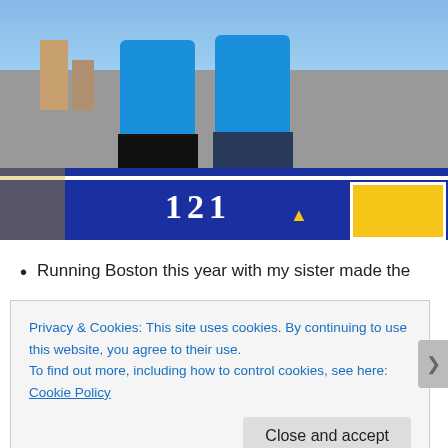[Figure (photo): Two women in blue athletic jackets and black tights standing on or near a blue Boston Marathon banner/sign showing '121' and a unicorn logo, with 'B' visible. Pavement background with other runners and spectators visible.]
Running Boston this year with my sister made the
Privacy & Cookies: This site uses cookies. By continuing to use this website, you agree to their use.
To find out more, including how to control cookies, see here: Cookie Policy